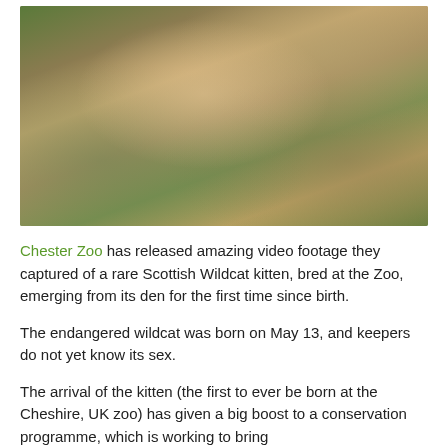[Figure (photo): Two Scottish Wildcat cats outdoors among natural vegetation, logs, and greenery at Chester Zoo]
Chester Zoo has released amazing video footage they captured of a rare Scottish Wildcat kitten, bred at the Zoo, emerging from its den for the first time since birth.
The endangered wildcat was born on May 13, and keepers do not yet know its sex.
The arrival of the kitten (the first to ever be born at the Cheshire, UK zoo) has given a big boost to a conservation programme, which is working to bring